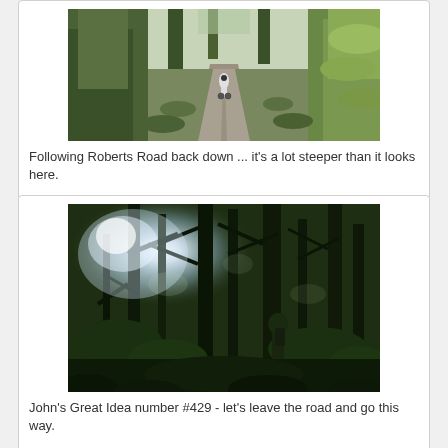[Figure (photo): A cyclist riding away from the camera down a gravel/dirt road through a lush green forest with tree ferns on both sides. The road stretches into the distance.]
Following Roberts Road back down ... it's a lot steeper than it looks here.
[Figure (photo): Dense bush/forest scene with tall trees, tangled vines and undergrowth. Light filtering through canopy. A person with a backpack is partially visible among the dense vegetation.]
John's Great Idea number #429 - let's leave the road and go this way.